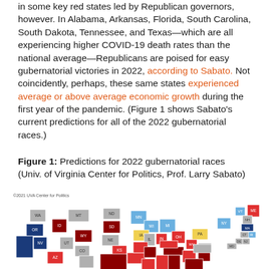in some key red states led by Republican governors, however. In Alabama, Arkansas, Florida, South Carolina, South Dakota, Tennessee, and Texas—which are all experiencing higher COVID-19 death rates than the national average—Republicans are poised for easy gubernatorial victories in 2022, according to Sabato. Not coincidently, perhaps, these same states experienced average or above average economic growth during the first year of the pandemic. (Figure 1 shows Sabato's current predictions for all of the 2022 gubernatorial races.)
Figure 1: Predictions for 2022 gubernatorial races (Univ. of Virginia Center for Politics, Prof. Larry Sabato)
[Figure (map): US map showing 2022 gubernatorial race predictions by state, color-coded. Dark red: safe Republican, Red: likely Republican, Light blue: likely Democrat, Dark blue: safe Democrat, Yellow: toss-up, Gray: no race. States labeled with abbreviations. Credit: ©2021 UVA Center for Politics]